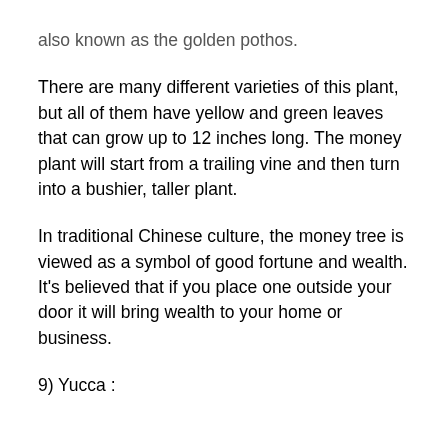also known as the golden pothos.
There are many different varieties of this plant, but all of them have yellow and green leaves that can grow up to 12 inches long. The money plant will start from a trailing vine and then turn into a bushier, taller plant.
In traditional Chinese culture, the money tree is viewed as a symbol of good fortune and wealth. It's believed that if you place one outside your door it will bring wealth to your home or business.
9) Yucca :